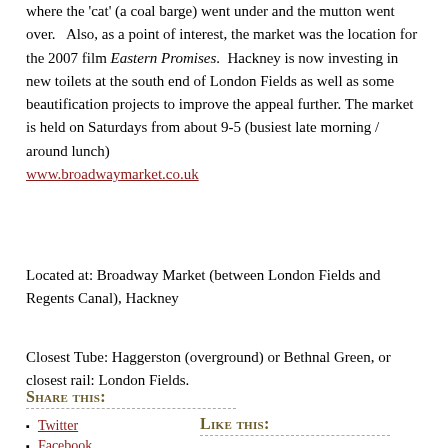where the 'cat' (a coal barge) went under and the mutton went over.   Also, as a point of interest, the market was the location for the 2007 film Eastern Promises.  Hackney is now investing in new toilets at the south end of London Fields as well as some beautification projects to improve the appeal further.  The market is held on Saturdays from about 9-5 (busiest late morning / around lunch)
www.broadwaymarket.co.uk
Located at: Broadway Market (between London Fields and Regents Canal), Hackney
Closest Tube: Haggerston (overground) or Bethnal Green, or closest rail: London Fields.
Share this:
Twitter
Like this:
Facebook